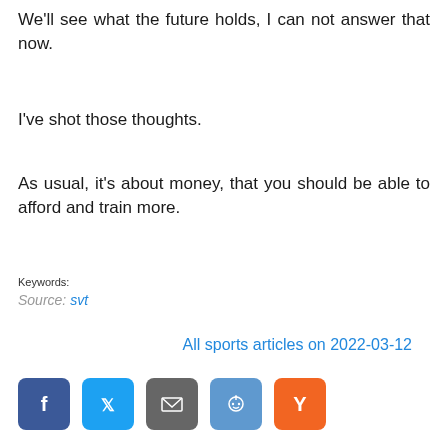We'll see what the future holds, I can not answer that now.
I've shot those thoughts.
As usual, it's about money, that you should be able to afford and train more.
Keywords:
Source: svt
All sports articles on 2022-03-12
[Figure (infographic): Social share buttons: Facebook (blue), Twitter (light blue), Email (grey), Reddit (blue), Hacker News Y (orange)]